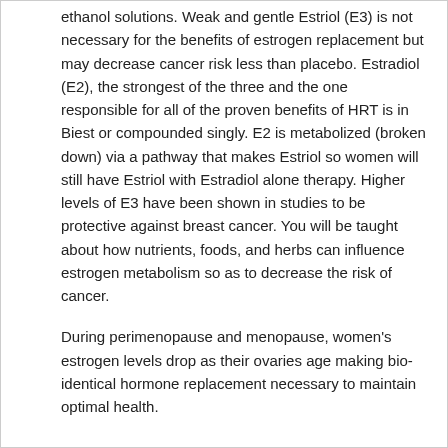ethanol solutions. Weak and gentle Estriol (E3) is not necessary for the benefits of estrogen replacement but may decrease cancer risk less than placebo. Estradiol (E2), the strongest of the three and the one responsible for all of the proven benefits of HRT is in Biest or compounded singly. E2 is metabolized (broken down) via a pathway that makes Estriol so women will still have Estriol with Estradiol alone therapy. Higher levels of E3 have been shown in studies to be protective against breast cancer. You will be taught about how nutrients, foods, and herbs can influence estrogen metabolism so as to decrease the risk of cancer.
During perimenopause and menopause, women's estrogen levels drop as their ovaries age making bio-identical hormone replacement necessary to maintain optimal health.
Estrogen
Know what symptoms to look for!